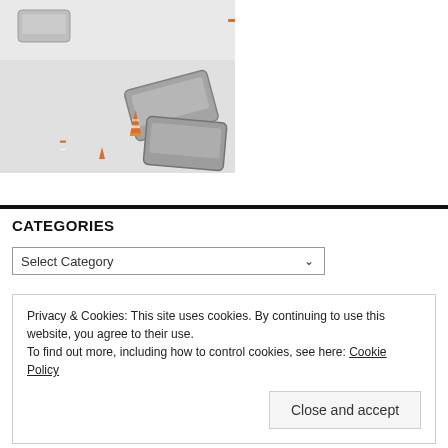[Figure (photo): Aerial view of cars involved in a winter weather accident on a snow-covered road, with orange traffic cones visible.]
CATEGORIES
Select Category
Privacy & Cookies: This site uses cookies. By continuing to use this website, you agree to their use.
To find out more, including how to control cookies, see here: Cookie Policy
Close and accept